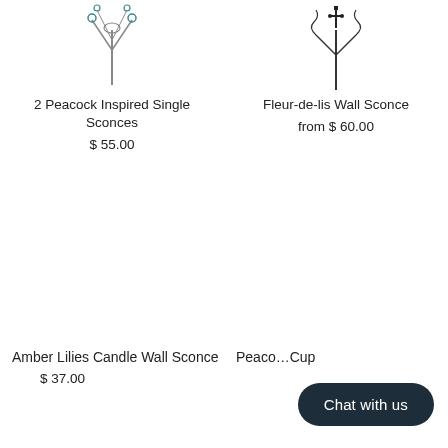[Figure (illustration): Decorative peacock-inspired single sconce product image, top portion visible]
[Figure (illustration): Fleur-de-lis wall sconce product image, top portion visible]
2 Peacock Inspired Single Sconces
$ 55.00
Fleur-de-lis Wall Sconce
from $ 60.00
[Figure (illustration): Amber Lilies Candle Wall Sconce product image (blank/white area shown)]
[Figure (illustration): Peacock Cup product image (partially obscured by chat button)]
Amber Lilies Candle Wall Sconce
$ 37.00
Peaco...Cup
Chat with us